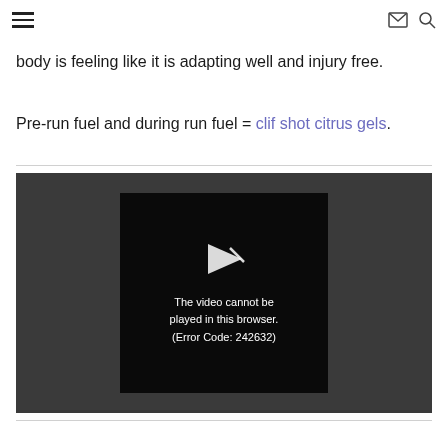≡  ✉ 🔍
body is feeling like it is adapting well and injury free.
Pre-run fuel and during run fuel = clif shot citrus gels.
[Figure (screenshot): Embedded video player showing error message: 'The video cannot be played in this browser. (Error Code: 242632)']